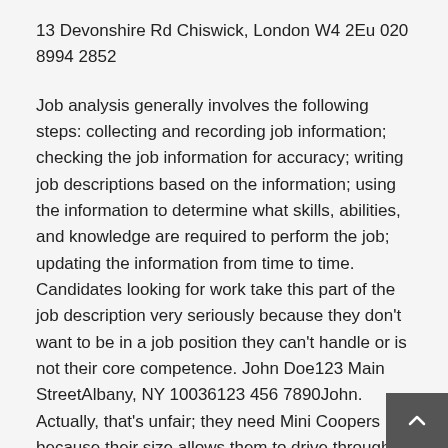13 Devonshire Rd Chiswick, London W4 2Eu 020 8994 2852
Job analysis generally involves the following steps: collecting and recording job information; checking the job information for accuracy; writing job descriptions based on the information; using the information to determine what skills, abilities, and knowledge are required to perform the job; updating the information from time to time. Candidates looking for work take this part of the job description very seriously because they don’t want to be in a job position they can’t handle or is not their core competence. John Doe123 Main StreetAlbany, NY 10036123 456 7890John. Actually, that’s unfair; they need Mini Coopers because their size allows them to drive through very narrow spaces, although they have no idea how handy the little cars will become when they drive down the stairs and onto the tracks of the Los Angeles subway system. Here you want to include all essential